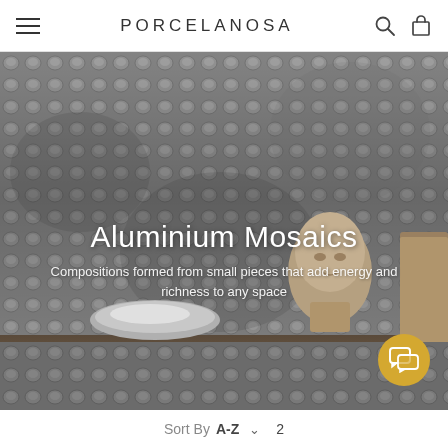PORCELANOSA
[Figure (photo): Aluminium mosaic tile background with small grey pebble-like tiles, a wooden shelf, a metallic bowl, a carved stone head sculpture, and a wooden block.]
Aluminium Mosaics
Compositions formed from small pieces that add energy and richness to any space
Sort By A-Z  2